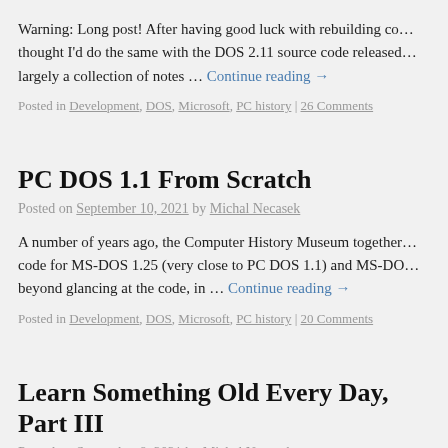Warning: Long post! After having good luck with rebuilding co… thought I'd do the same with the DOS 2.11 source code released… largely a collection of notes … Continue reading →
Posted in Development, DOS, Microsoft, PC history | 26 Comments
PC DOS 1.1 From Scratch
Posted on September 10, 2021 by Michal Necasek
A number of years ago, the Computer History Museum together… code for MS-DOS 1.25 (very close to PC DOS 1.1) and MS-DO… beyond glancing at the code, in … Continue reading →
Posted in Development, DOS, Microsoft, PC history | 20 Comments
Learn Something Old Every Day, Part III
Posted on September 8, 2021 by Michal Necasek